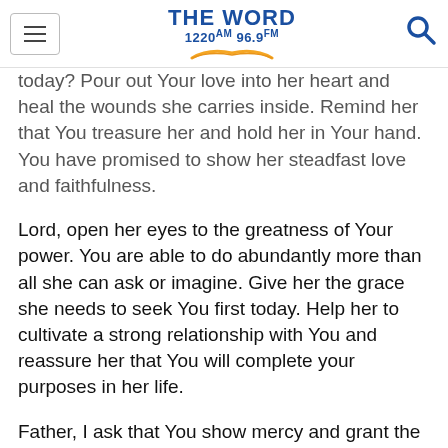THE WORD 1220AM 96.9FM
today? Pour out Your love into her heart and heal the wounds she carries inside. Remind her that You treasure her and hold her in Your hand. You have promised to show her steadfast love and faithfulness.
Lord, open her eyes to the greatness of Your power. You are able to do abundantly more than all she can ask or imagine. Give her the grace she needs to seek You first today. Help her to cultivate a strong relationship with You and reassure her that You will complete your purposes in her life.
Father, I ask that You show mercy and grant the desire of her heart for a child. Help her to acknowledge her desire before You and lay it at Your feet, trusting that you will grant it in your timing and in your way. Let her live in surrender to Your plans and purposes for her life